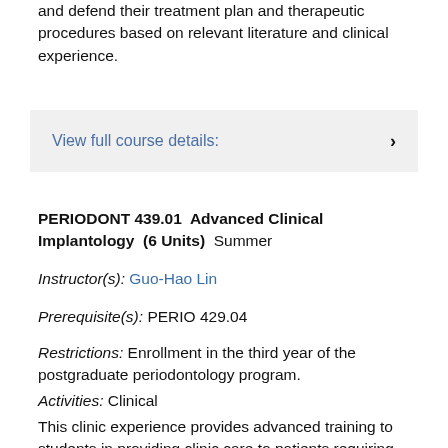and defend their treatment plan and therapeutic procedures based on relevant literature and clinical experience.
View full course details:
PERIODONT 439.01  Advanced Clinical Implantology  (6 Units)  Summer
Instructor(s): Guo-Hao Lin
Prerequisite(s): PERIO 429.04
Restrictions: Enrollment in the third year of the postgraduate periodontology program.
Activities: Clinical
This clinic experience provides advanced training to students in providing clinic care to patients requiring dental implant surgical treatments. Students are